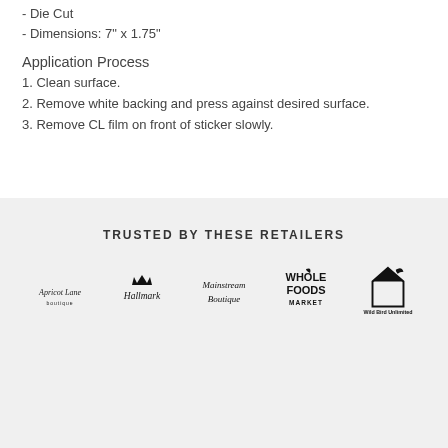- Die Cut
- Dimensions: 7" x 1.75"
Application Process
1. Clean surface.
2. Remove white backing and press against desired surface.
3. Remove CL film on front of sticker slowly.
TRUSTED BY THESE RETAILERS
[Figure (logo): Row of retailer logos: Apricot Lane, Hallmark, Mainstream Boutique, Whole Foods Market, Wild Bird Unlimited]